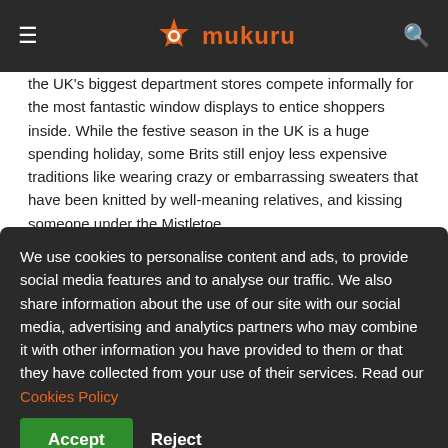mukuru
the UK's biggest department stores compete informally for the most fantastic window displays to entice shoppers inside. While the festive season in the UK is a huge spending holiday, some Brits still enjoy less expensive traditions like wearing crazy or embarrassing sweaters that have been knitted by well-meaning relatives, and kissing someone under the Mistletoe.
Zambia
We use cookies to personalise content and ads, to provide social media features and to analyse our traffic. We also share information about the use of our site with our social media, advertising and analytics partners who may combine it with other information you have provided to them or that they have collected from your use of their services. Read our Cookies Policy
Accept   Reject
Zimbabwe
Christmas Day in Zimbabwe starts with people dressing up and heading for church. Then it's all about spreading the